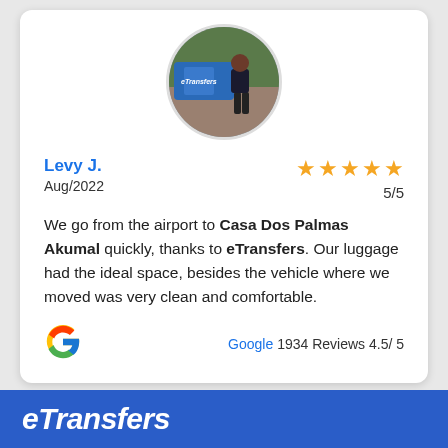[Figure (photo): Circular avatar photo showing a person standing next to a vehicle with eTransfers branding visible on the vehicle door]
Levy J.
Aug/2022
[Figure (other): 5 gold star rating icons]
5/5
We go from the airport to Casa Dos Palmas Akumal quickly, thanks to eTransfers. Our luggage had the ideal space, besides the vehicle where we moved was very clean and comfortable.
[Figure (logo): Google G logo in red, blue, yellow, green colors]
Google 1934 Reviews 4.5/ 5
eTransfers